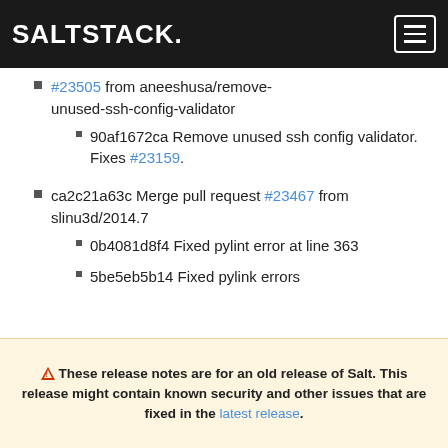SALTSTACK.
#23505 from aneeshusa/remove-unused-ssh-config-validator
90af1672ca Remove unused ssh config validator. Fixes #23159.
ca2c21a63c Merge pull request #23467 from slinu3d/2014.7
0b4081d8f4 Fixed pylint error at line 363
5be5eb5b14 Fixed pylink errors
⚠ These release notes are for an old release of Salt. This release might contain known security and other issues that are fixed in the latest release.